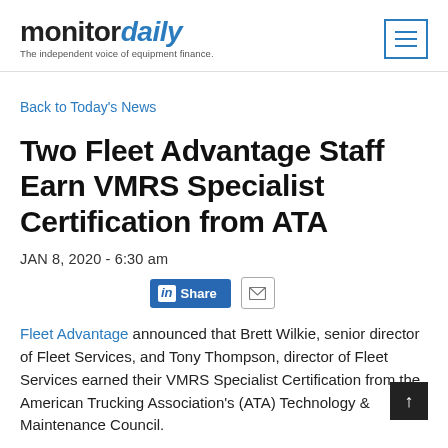monitordaily — The independent voice of equipment finance.
Back to Today's News
Two Fleet Advantage Staff Earn VMRS Specialist Certification from ATA
JAN 8, 2020 - 6:30 am
Share (LinkedIn, Email)
Fleet Advantage announced that Brett Wilkie, senior director of Fleet Services, and Tony Thompson, director of Fleet Services earned their VMRS Specialist Certification from the American Trucking Association's (ATA) Technology & Maintenance Council.